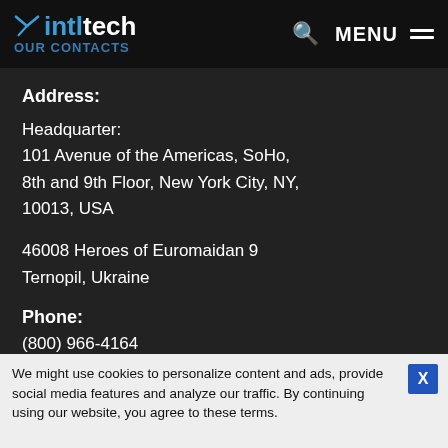intltech OUR CONTACTS  Q  MENU
Address:
Headquarter:
101 Avenue of the Americas, SoHo,
8th and 9th Floor, New York City, NY,
10013, USA
46008 Heroes of Euromaidan 9
Ternopil, Ukraine
Phone:
(800) 966-4164
We might use cookies to personalize content and ads, provide social media features and analyze our traffic. By continuing using our website, you agree to these terms.